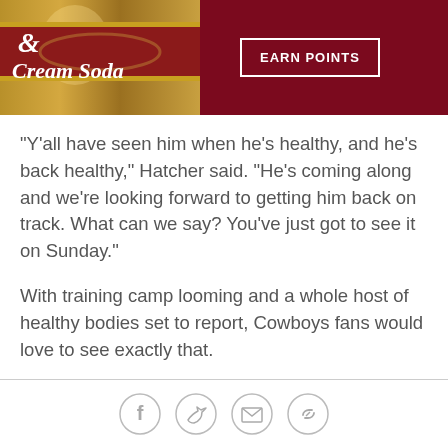[Figure (photo): Advertisement banner showing a cream soda can with text '& Cream Soda' on a dark red background, with a white-bordered 'EARN POINTS' button]
"Y'all have seen him when he's healthy, and he's back healthy," Hatcher said. "He's coming along and we're looking forward to getting him back on track. What can we say? You've just got to see it on Sunday."
With training camp looming and a whole host of healthy bodies set to report, Cowboys fans would love to see exactly that.
View photos from the Home Run Derby »»
Social share icons: Facebook, Twitter, Email, Link